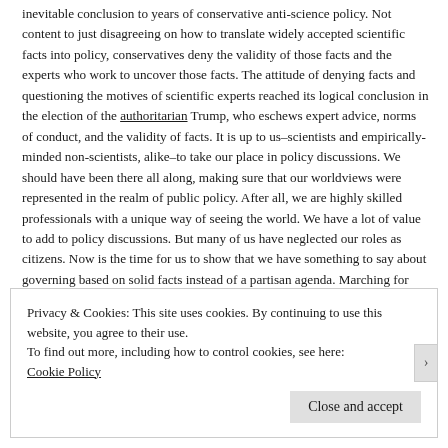inevitable conclusion to years of conservative anti-science policy. Not content to just disagreeing on how to translate widely accepted scientific facts into policy, conservatives deny the validity of those facts and the experts who work to uncover those facts. The attitude of denying facts and questioning the motives of scientific experts reached its logical conclusion in the election of the authoritarian Trump, who eschews expert advice, norms of conduct, and the validity of facts. It is up to us–scientists and empirically-minded non-scientists, alike–to take our place in policy discussions. We should have been there all along, making sure that our worldviews were represented in the realm of public policy. After all, we are highly skilled professionals with a unique way of seeing the world. We have a lot of value to add to policy discussions. But many of us have neglected our roles as citizens. Now is the time for us to show that we have something to say about governing based on solid facts instead of a partisan agenda. Marching for science is a solid start.
Privacy & Cookies: This site uses cookies. By continuing to use this website, you agree to their use.
To find out more, including how to control cookies, see here: Cookie Policy